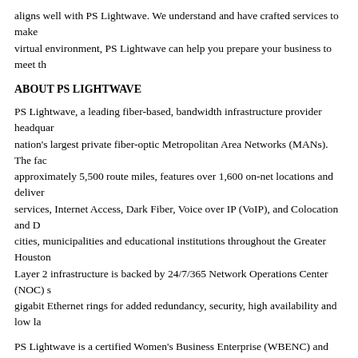aligns well with PS Lightwave. We understand and have crafted services to make virtual environment, PS Lightwave can help you prepare your business to meet th
ABOUT PS LIGHTWAVE
PS Lightwave, a leading fiber-based, bandwidth infrastructure provider headquar nation's largest private fiber-optic Metropolitan Area Networks (MANs). The fac approximately 5,500 route miles, features over 1,600 on-net locations and deliver services, Internet Access, Dark Fiber, Voice over IP (VoIP), and Colocation and D cities, municipalities and educational institutions throughout the Greater Houston Layer 2 infrastructure is backed by 24/7/365 Network Operations Center (NOC) s gigabit Ethernet rings for added redundancy, security, high availability and low la
PS Lightwave is a certified Women's Business Enterprise (WBENC) and was nar 2015, 2016, 2019 and 2020. They are also a HCDE Choice partner with the Choi hold a GSA certificate to provide services to government organizations.
At PS Lightwave, Great Connections Happen Here™.
To learn more about PS Lightwave, visit www.pslightwave.com